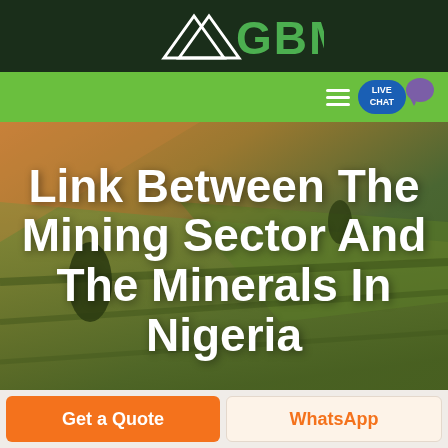GBM
[Figure (screenshot): GBM logo with white arrow/mountain icon on dark green background header bar]
[Figure (screenshot): Green navigation bar with hamburger menu icon and blue LIVE CHAT button with chat bubble icon]
[Figure (photo): Aerial photograph of agricultural fields with warm orange and green tones, trees visible]
Link Between The Mining Sector And The Minerals In Nigeria
Get a Quote
WhatsApp